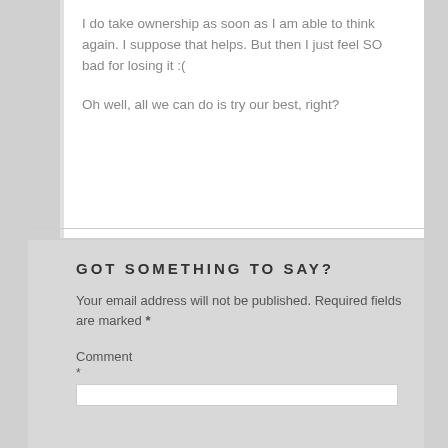I do take ownership as soon as I am able to think again. I suppose that helps. But then I just feel SO bad for losing it :(
Oh well, all we can do is try our best, right?
GOT SOMETHING TO SAY?
Your email address will not be published. Required fields are marked *
Comment
*